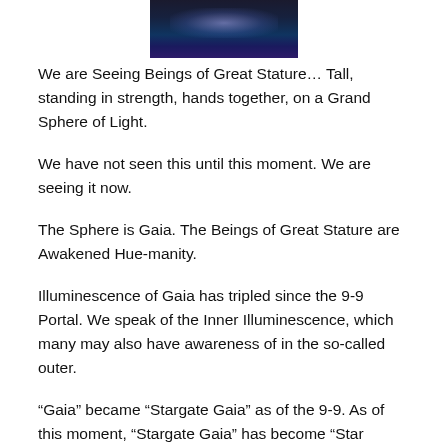[Figure (photo): Dark photograph showing a nighttime or space scene with faint light in the center, appearing to show stars or illuminated clouds against a deep blue-black background.]
We are Seeing Beings of Great Stature… Tall, standing in strength, hands together, on a Grand Sphere of Light.
We have not seen this until this moment. We are seeing it now.
The Sphere is Gaia. The Beings of Great Stature are Awakened Hue-manity.
Illuminescence of Gaia has tripled since the 9-9 Portal. We speak of the Inner Illuminescence, which many may also have awareness of in the so-called outer.
“Gaia” became “Stargate Gaia” as of the 9-9. As of this moment, “Stargate Gaia” has become “Star Gaia”.